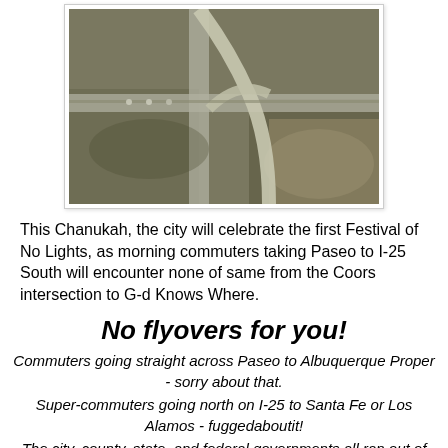[Figure (photo): Aerial photograph of a highway interchange construction area, showing curved ramps, roads, and earthwork from above.]
This Chanukah, the city will celebrate the first Festival of No Lights, as morning commuters taking Paseo to I-25 South will encounter none of same from the Coors intersection to G-d Knows Where.
No flyovers for you!
Commuters going straight across Paseo to Albuquerque Proper - sorry about that.
Super-commuters going north on I-25 to Santa Fe or Los Alamos - fuggedaboutit!
The city, county, state, and federal governments all ran out of Chanukah gelt.
Enjoy the Festival of Lights in all its radiance!